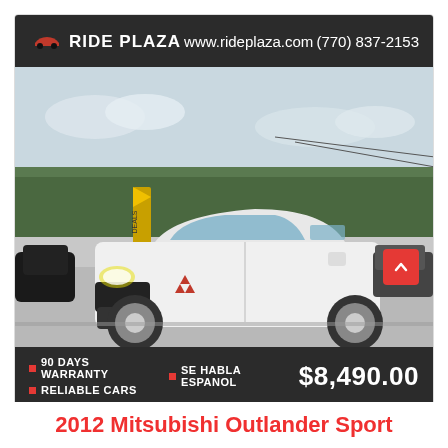[Figure (photo): Ride Plaza dealership advertisement showing a white 2012 Mitsubishi Outlander Sport SUV parked in a dealership lot. The image includes a dark header bar with the Ride Plaza logo, website URL www.rideplaza.com, and phone number (770) 837-2153. A bottom info bar displays: 90 DAYS WARRANTY, RELIABLE CARS, SE HABLA ESPANOL, and a price of $8,490.00. A red scroll-up button is visible at the lower right of the photo.]
2012 Mitsubishi Outlander Sport